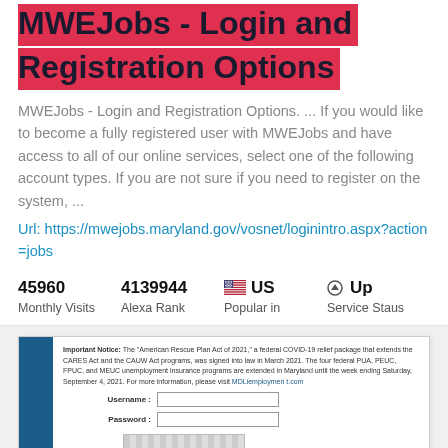MWEJobs - Login and Registration Options
MWEJobs - Login and Registration Options. ... If you would like to become a fully registered user with MWEJobs and have access to all of our online services, select one of the following account types. If you are not sure if you need to register on the system, ...
Url: https://mwejobs.maryland.gov/vosnet/loginintro.aspx?action=jobs
| Monthly Visits | Alexa Rank | Popular in | Service Staus |
| --- | --- | --- | --- |
| 45960 | 4139944 | US | Up |
[Figure (screenshot): Screenshot of MWEJobs login page showing an Important Notice about the American Rescue Plan Act of 2021 and a login form with Username and Password fields]